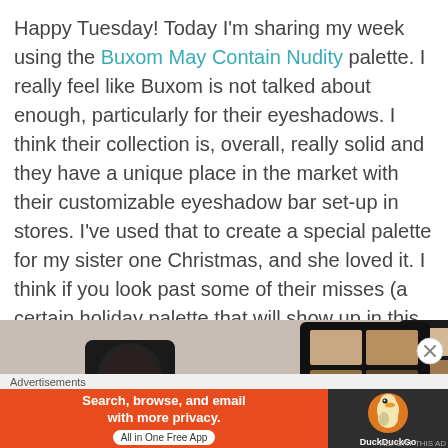Happy Tuesday! Today I'm sharing my week using the Buxom May Contain Nudity palette. I really feel like Buxom is not talked about enough, particularly for their eyeshadows. I think their collection is, overall, really solid and they have a unique place in the market with their customizable eyeshadow bar set-up in stores. I've used that to create a special palette for my sister one Christmas, and she loved it. I think if you look past some of their misses (a certain holiday palette that will show up in this series eventually), they deserve more praise for their full line and not just their lip products.
[Figure (photo): Partial view of makeup palette product photos, dark compact cases with eyeshadow pans visible]
Advertisements
[Figure (screenshot): DuckDuckGo advertisement banner: orange background with text 'Search, browse, and email with more privacy. All in One Free App' and DuckDuckGo logo on dark background]